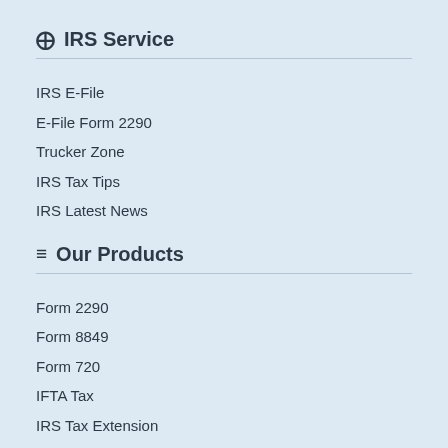⊕ IRS Service
IRS E-File
E-File Form 2290
Trucker Zone
IRS Tax Tips
IRS Latest News
≡ Our Products
Form 2290
Form 8849
Form 720
IFTA Tax
IRS Tax Extension